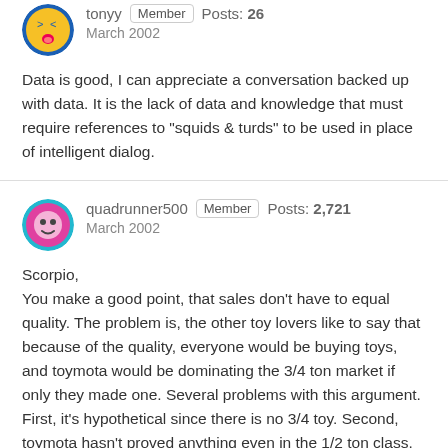tonyy  Member  Posts: 26
March 2002
Data is good, I can appreciate a conversation backed up with data. It is the lack of data and knowledge that must require references to "squids & turds" to be used in place of intelligent dialog.
quadrunner500  Member  Posts: 2,721
March 2002
Scorpio,
You make a good point, that sales don't have to equal quality. The problem is, the other toy lovers like to say that because of the quality, everyone would be buying toys, and toymota would be dominating the 3/4 ton market if only they made one. Several problems with this argument. First, it's hypothetical since there is no 3/4 toy. Second, toymota hasn't proved anything even in the 1/2 ton class.

Let's turn the clock back...to when you were thinking...."Gee, if